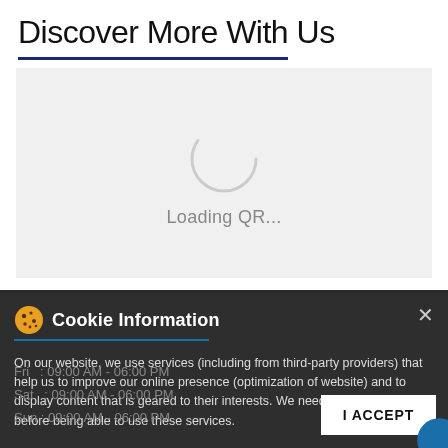Discover More With Us
[Figure (other): QR code loading spinner with text 'Loading QR...' on a light grey background]
Cookie Information
On our website, we use services (including from third-party providers) that help us to improve our online presence (optimization of website) and to display content that is geared to their interests. We need your consent before being able to use these services.
Fri : 09:00 AM - 06:00 PM
Sat : 09:00 AM - 06:00 PM
Sun : 09:00 AM - 06:00 PM